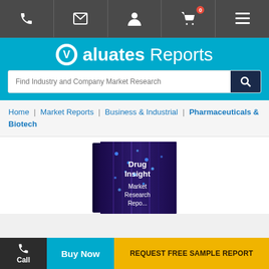[Figure (screenshot): Top navigation bar with phone, email, user, cart (badge: 0), and menu icons on dark gray background]
[Figure (logo): Valuates Reports logo and search bar on cyan/teal background]
Home | Market Reports | Business & Industrial | Pharmaceuticals & Biotech
[Figure (photo): Book cover showing 'Drug Insight Market Research Report' on dark purple background with light streaks]
Call
Buy Now
REQUEST FREE SAMPLE REPORT